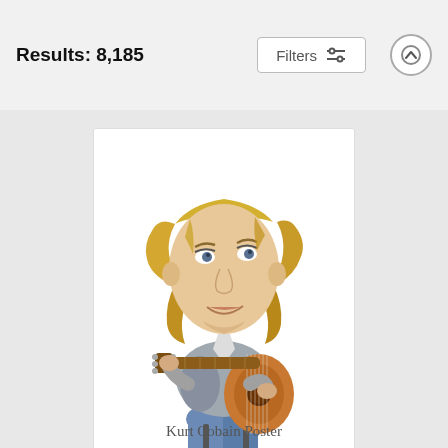Results: 8,185
[Figure (screenshot): Filters button with sliders icon and an up-arrow circle button in the header bar]
[Figure (illustration): Caricature illustration of Kurt Cobain playing acoustic guitar, with exaggerated large head, blonde hair, grey jacket, jeans, and sneakers, sitting on a stool]
Kurt Cobain Poster